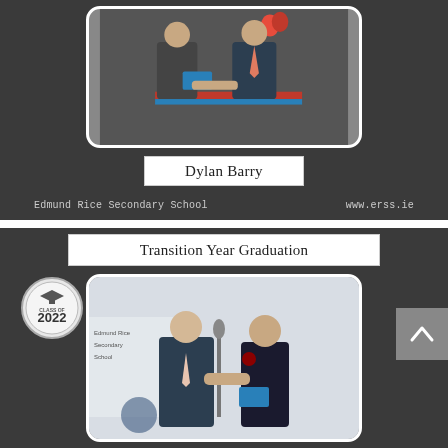[Figure (photo): Two people shaking hands at a graduation ceremony, one holding a blue folder/certificate, red balloons in background, dark background card with rounded photo]
Dylan Barry
Edmund Rice Secondary School    www.erss.ie
Transition Year Graduation
[Figure (photo): An older man in a dark suit shaking hands with a teenage boy in school uniform at a graduation ceremony, Class of 2022 badge overlay, microphone stand visible]
CLASS OF 2022